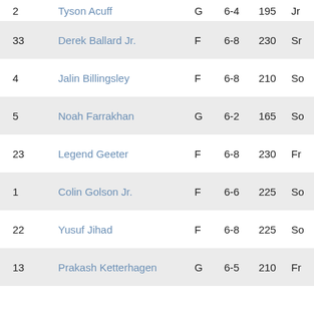| # | Name | Pos | Ht | Wt | Yr |
| --- | --- | --- | --- | --- | --- |
| 2 | Tyson Acuff | G | 6-4 | 195 | Jr |
| 33 | Derek Ballard Jr. | F | 6-8 | 230 | Sr |
| 4 | Jalin Billingsley | F | 6-8 | 210 | So |
| 5 | Noah Farrakhan | G | 6-2 | 165 | So |
| 23 | Legend Geeter | F | 6-8 | 230 | Fr |
| 1 | Colin Golson Jr. | F | 6-6 | 225 | So |
| 22 | Yusuf Jihad | F | 6-8 | 225 | So |
| 13 | Prakash Ketterhagen | G | 6-5 | 210 | Fr |